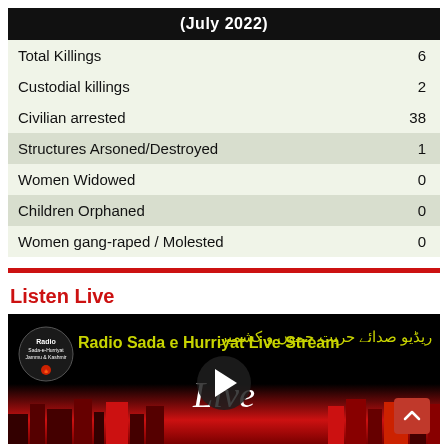| (July 2022) |  |
| --- | --- |
| Total Killings | 6 |
| Custodial killings | 2 |
| Civilian arrested | 38 |
| Structures Arsoned/Destroyed | 1 |
| Women Widowed | 0 |
| Children Orphaned | 0 |
| Women gang-raped / Molested | 0 |
Listen Live
[Figure (screenshot): Radio Sada e Hurriyat Live Stream video thumbnail on black background with Urdu text, city skyline silhouette in red, play button, and 'Live' text in white.]